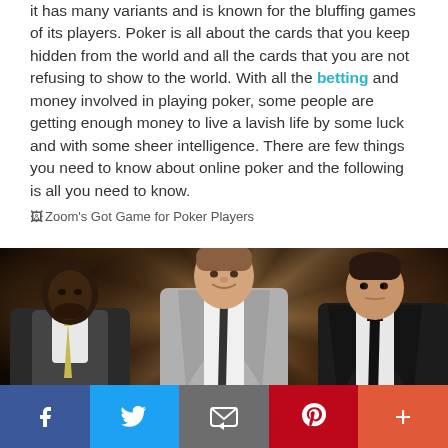it has many variants and is known for the bluffing games of its players. Poker is all about the cards that you keep hidden from the world and all the cards that you are not refusing to show to the world. With all the betting and money involved in playing poker, some people are getting enough money to live a lavish life by some luck and with some sheer intelligence. There are few things you need to know about online poker and the following is all you need to know.
[Figure (illustration): Broken image placeholder showing text: Zoom's Got Game for Poker Players]
[Figure (photo): Three men in suits sitting at a poker table against a dramatic dark wooden ray background. Left man is Black wearing a vest and yellow tie. Center man is white in a grey suit with a dark tie, looking at camera. Right man is white in a dark suit with a black tie, looking sideways.]
Facebook | Twitter | Email | Pinterest | More